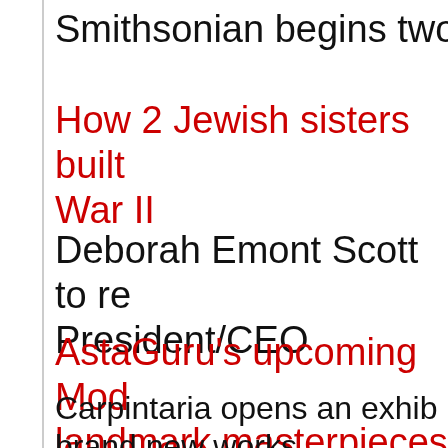Smithsonian begins two-ye
How 2 Jewish sisters built War II
Deborah Emont Scott to re President/CEO
AstaGuru's upcoming Mod landmark masterpieces
Carpintaria opens an exhib brand new works